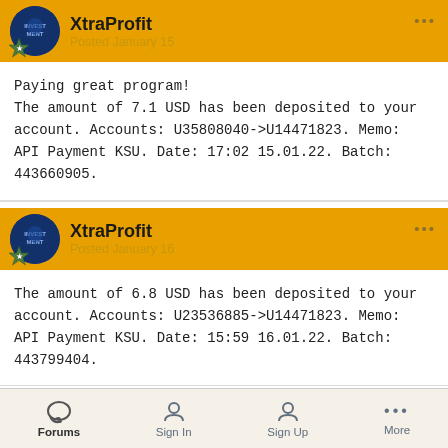XtraProfit — Posted January 15
Paying great program!
The amount of 7.1 USD has been deposited to your account. Accounts: U35808040->U14471823. Memo: API Payment KSU. Date: 17:02 15.01.22. Batch: 443660905.
XtraProfit — Posted January 16
The amount of 6.8 USD has been deposited to your account. Accounts: U23536885->U14471823. Memo: API Payment KSU. Date: 15:59 16.01.22. Batch: 443799404.
Forums  Sign In  Sign Up  More